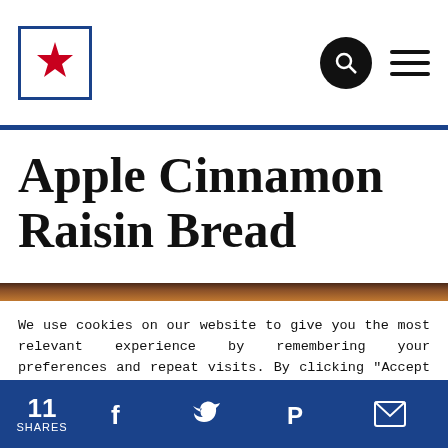Logo / search / menu header
Apple Cinnamon Raisin Bread
[Figure (photo): Thin strip showing the top edge of a loaf of apple cinnamon raisin bread]
We use cookies on our website to give you the most relevant experience by remembering your preferences and repeat visits. By clicking "Accept All", you consent to the use of ALL the cookies. However, you may visit "Cookie Settings" to provide a controlled consent.
Cookie Settings   Accept All
11 SHARES  [Facebook] [Twitter] [Pinterest] [Email]